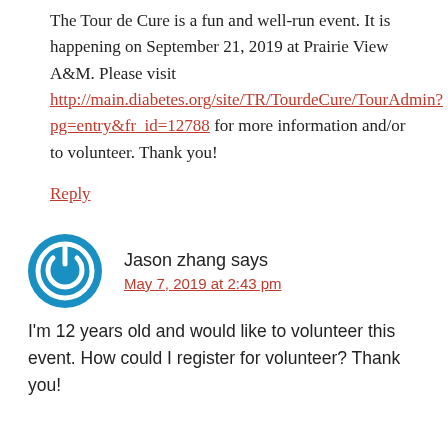The Tour de Cure is a fun and well-run event. It is happening on September 21, 2019 at Prairie View A&M. Please visit http://main.diabetes.org/site/TR/TourdeCure/TourAdmin?pg=entry&fr_id=12788 for more information and/or to volunteer. Thank you!
Reply
Jason zhang says
May 7, 2019 at 2:43 pm
I'm 12 years old and would like to volunteer this event. How could I register for volunteer? Thank you!